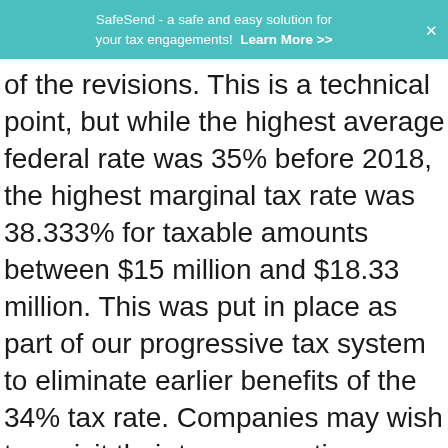SafeSend - a safe and easy solution for your tax engagements! Learn More >>
of the revisions. This is a technical point, but while the highest average federal rate was 35% before 2018, the highest marginal tax rate was 38.333% for taxable amounts between $15 million and $18.33 million. This was put in place as part of our progressive tax system to eliminate earlier benefits of the 34% tax rate. Companies may wish to revisit their tax accounting methodologies to defer income and accelerate deductions in order to maximize their current year losses to increase their NOL carrybacks to earlier years.